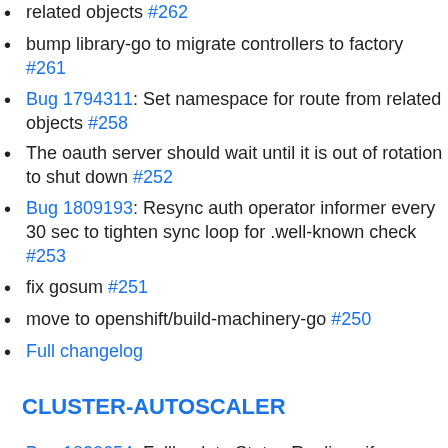related objects #262
bump library-go to migrate controllers to factory #261
Bug 1794311: Set namespace for route from related objects #258
The oauth server should wait until it is out of rotation to shut down #252
Bug 1809193: Resync auth operator informer every 30 sec to tighten sync loop for .well-known check #253
fix gosum #251
move to openshift/build-machinery-go #250
Full changelog
CLUSTER-AUTOSCALER
Bug 1820654: Fallback to Status Replicas if Replicas nil when listing NodeGroups #161
BUG 1846967: Allow small tolerance on memory capacity when comparing nodegroups #157